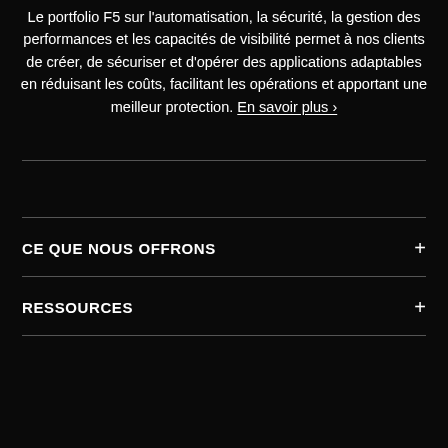Le portfolio F5 sur l'automatisation, la sécurité, la gestion des performances et les capacités de visibilité permet à nos clients de créer, de sécuriser et d'opérer des applications adaptables en réduisant les coûts, facilitant les opérations et apportant une meilleur protection. En savoir plus ›
CE QUE NOUS OFFRONS
RESSOURCES